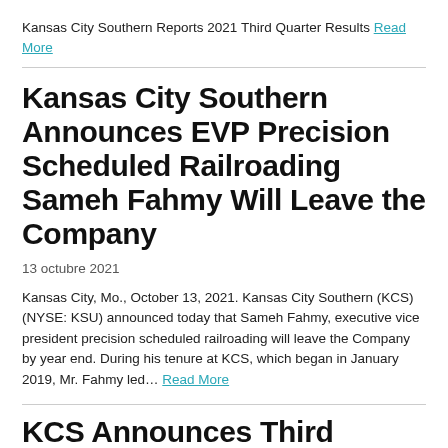Kansas City Southern Reports 2021 Third Quarter Results Read More
Kansas City Southern Announces EVP Precision Scheduled Railroading Sameh Fahmy Will Leave the Company
13 octubre 2021
Kansas City, Mo., October 13, 2021. Kansas City Southern (KCS) (NYSE: KSU) announced today that Sameh Fahmy, executive vice president precision scheduled railroading will leave the Company by year end. During his tenure at KCS, which began in January 2019, Mr. Fahmy led… Read More
KCS Announces Third Quarter...